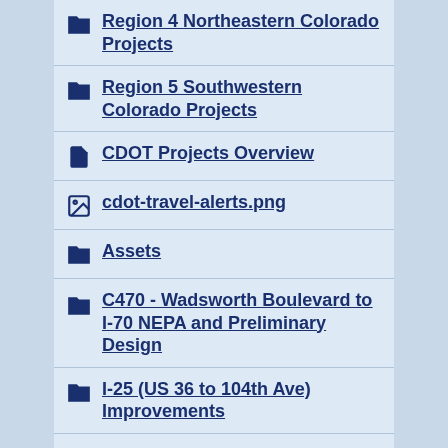Region 4 Northeastern Colorado Projects
Region 5 Southwestern Colorado Projects
CDOT Projects Overview
cdot-travel-alerts.png
Assets
C470 - Wadsworth Boulevard to I-70 NEPA and Preliminary Design
I-25 (US 36 to 104th Ave) Improvements
CO 7 Lower (Lyons to Raymond)